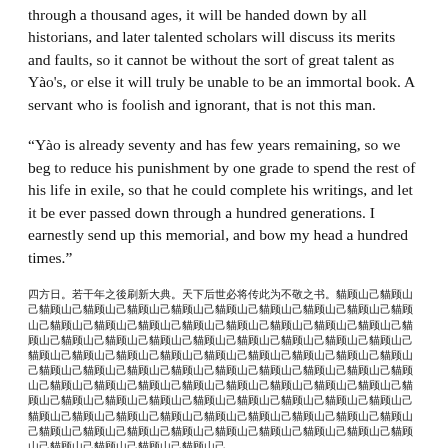through a thousand ages, it will be handed down by all historians, and later talented scholars will discuss its merits and faults, so it cannot be without the sort of great talent as Yào's, or else it will truly be unable to be an immortal book. A servant who is foolish and ignorant, that is not this man.
“Yào is already seventy and has few years remaining, so we beg to reduce his punishment by one grade to spend the rest of his life in exile, so that he could complete his writings, and let it be ever passed down through a hundred generations. I earnestly send up this memorial, and bow my head a hundred times.”
[CJK characters block]